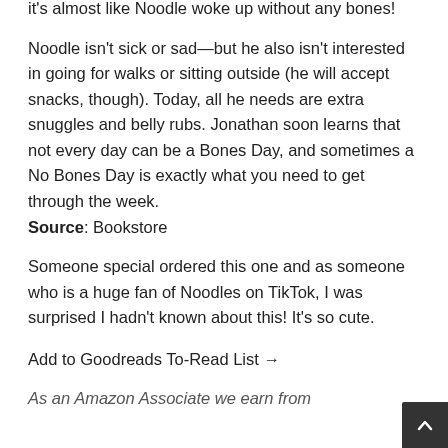it's almost like Noodle woke up without any bones!
Noodle isn't sick or sad—but he also isn't interested in going for walks or sitting outside (he will accept snacks, though). Today, all he needs are extra snuggles and belly rubs. Jonathan soon learns that not every day can be a Bones Day, and sometimes a No Bones Day is exactly what you need to get through the week.
Source: Bookstore
Someone special ordered this one and as someone who is a huge fan of Noodles on TikTok, I was surprised I hadn't known about this! It's so cute.
Add to Goodreads To-Read List →
As an Amazon Associate we earn from